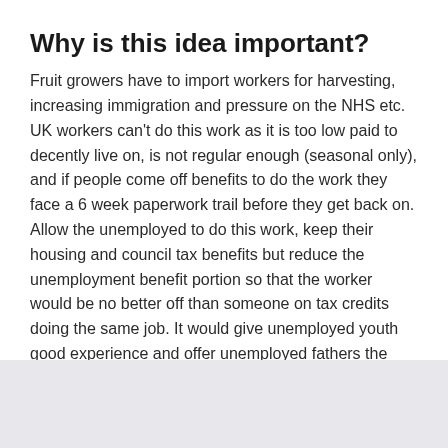Why is this idea important?
Fruit growers have to import workers for harvesting, increasing immigration and pressure on the NHS etc. UK workers can't do this work as it is too low paid to decently live on, is not regular enough (seasonal only), and if people come off benefits to do the work they face a 6 week paperwork trail before they get back on. Allow the unemployed to do this work, keep their housing and council tax benefits but reduce the unemployment benefit portion so that the worker would be no better off than someone on tax credits doing the same job. It would give unemployed youth good experience and offer unemployed fathers the chance to get out and work without jeopardising their families financial well being.